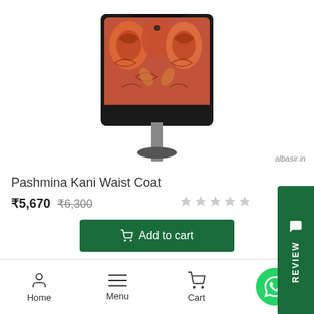[Figure (photo): Photo of a Pashmina Kani Waist Coat displayed on a mannequin stand, showing intricate paisley embroidery pattern in red, orange, and brown tones on a dark base]
albasir.in
Pashmina Kani Waist Coat
₹5,670  ₹6,300
[Figure (other): Add to cart button with shopping cart icon, dark green background, white text reading 'Add to cart']
[Figure (other): REVIEW tab button in dark green on right side with speech bubble icon]
[Figure (other): Three navigation dots: one dark green (active), two grey (inactive)]
Home  Menu  Cart